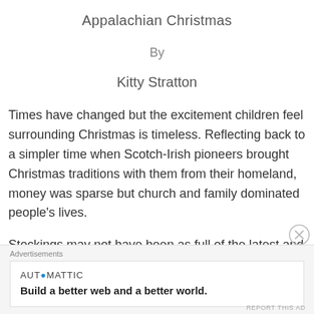Appalachian Christmas
By
Kitty Stratton
Times have changed but the excitement children feel surrounding Christmas is timeless. Reflecting back to a simpler time when Scotch-Irish pioneers brought Christmas traditions with them from their homeland, money was sparse but church and family dominated people’s lives.
Stockings may not have been as full of the latest and greatest toys but for a child
Advertisements
AUTOMATTIC
Build a better web and a better world.
REPORT THIS AD